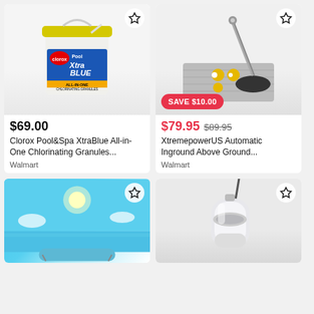[Figure (photo): Clorox Pool&Spa XtraBlue chlorinating granules bucket, white with yellow lid and blue label]
$69.00
Clorox Pool&Spa XtraBlue All-in-One Chlorinating Granules...
Walmart
[Figure (photo): XtremepowerUS Automatic pool vacuum cleaner with accessories on a grey mat]
SAVE $10.00
$79.95  $89.95
XtremepowerUS Automatic Inground Above Ground...
Walmart
[Figure (photo): Beach scene with blue sky, ocean, and a blue yoga mat or pool float]
[Figure (photo): White and chrome pool cleaner device, cylindrical shape]